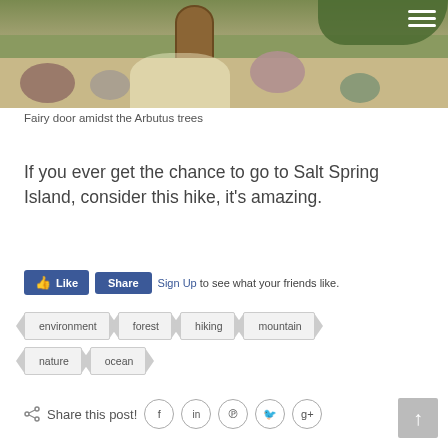[Figure (photo): Photo of a fairy door set among rocks and Arbutus trees, with moss, stones, and a small wooden door visible. Hamburger menu icon in top-right corner.]
Fairy door amidst the Arbutus trees
If you ever get the chance to go to Salt Spring Island, consider this hike, it's amazing.
Like  Share  Sign Up to see what your friends like.
environment
forest
hiking
mountain
nature
ocean
Share this post!